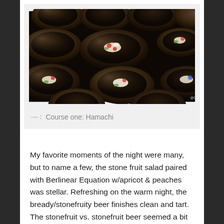[Figure (photo): Multiple dark matte bowls arranged in rows, each containing small food items — appears to be hamachi sashimi with colorful garnishes. Photo watermarked @OCBeerBlog.]
— : Course one: Hamachi
My favorite moments of the night were many, but to name a few, the stone fruit salad paired with Berlinear Equation w/apricot & peaches was stellar. Refreshing on the warm night, the bready/stonefruity beer finishes clean and tart. The stonefruit vs. stonefruit beer seemed a bit obvious, but the real star of the show was a nip of basil that was